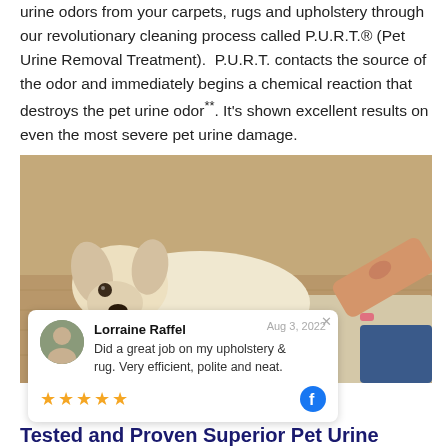urine odors from your carpets, rugs and upholstery through our revolutionary cleaning process called P.U.R.T.® (Pet Urine Removal Treatment). P.U.R.T. contacts the source of the odor and immediately begins a chemical reaction that destroys the pet urine odor**. It's shown excellent results on even the most severe pet urine damage.
[Figure (photo): A white Labrador puppy lying on a hardwood floor being scolded by a person pointing at a stain on beige carpet.]
Lorraine Raffel  Aug 3, 2022
Did a great job on my upholstery & rug. Very efficient, polite and neat.
★★★★★
Tested and Proven Superior Pet Urine